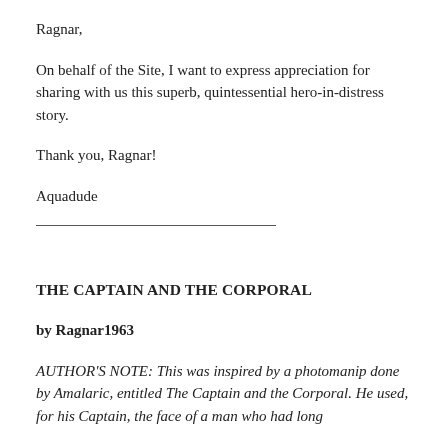Ragnar,
On behalf of the Site, I want to express appreciation for sharing with us this superb, quintessential hero-in-distress story.
Thank you, Ragnar!
Aquadude
___________________________
THE CAPTAIN AND THE CORPORAL
by Ragnar1963
AUTHOR'S NOTE: This was inspired by a photomanip done by Amalaric, entitled The Captain and the Corporal. He used, for his Captain, the face of a man who had long